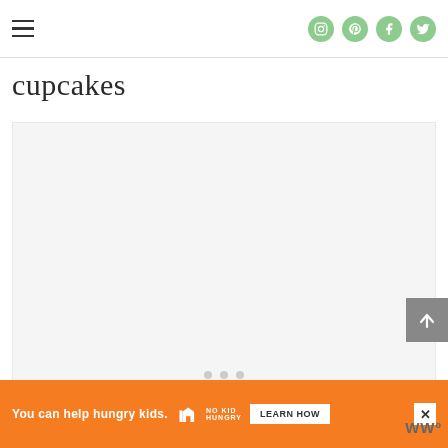Navigation menu and social icons (Instagram, Pinterest, Facebook, Twitter)
cupcakes
[Figure (photo): Large light grey image placeholder area for a cupcakes slideshow or photo gallery, with three pagination dots at the bottom center]
[Figure (screenshot): Advertisement banner: orange background with text 'You can help hungry kids.' No Kid Hungry logo, LEARN HOW button, and close X button. WW logo on the right.]